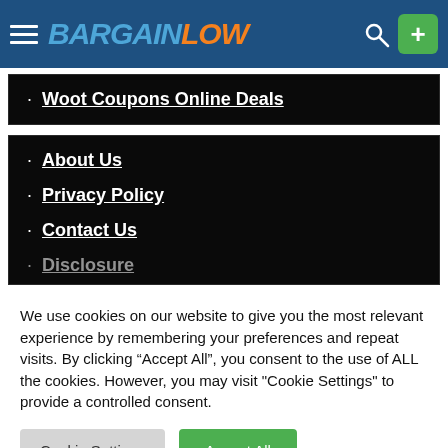BARGAINLOW
Woot Coupons Online Deals
About Us
Privacy Policy
Contact Us
Disclosure
We use cookies on our website to give you the most relevant experience by remembering your preferences and repeat visits. By clicking “Accept All”, you consent to the use of ALL the cookies. However, you may visit "Cookie Settings" to provide a controlled consent.